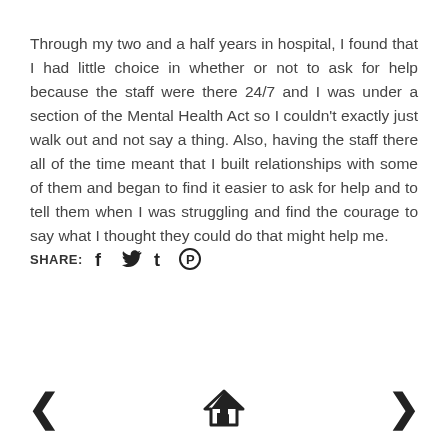Through my two and a half years in hospital, I found that I had little choice in whether or not to ask for help because the staff were there 24/7 and I was under a section of the Mental Health Act so I couldn't exactly just walk out and not say a thing. Also, having the staff there all of the time meant that I built relationships with some of them and began to find it easier to ask for help and to tell them when I was struggling and find the courage to say what I thought they could do that might help me.
SHARE: [social icons: facebook, twitter, tumblr, pinterest]